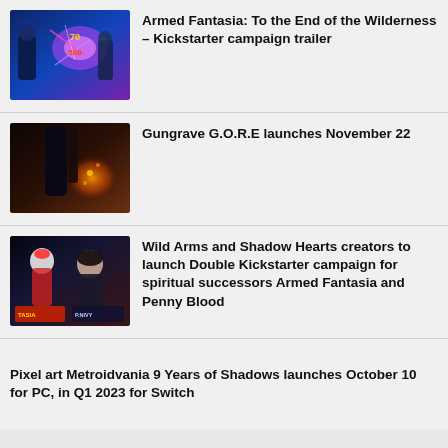[Figure (illustration): Game screenshot from Armed Fantasia showing action combat scene with blue/purple energy effects]
Armed Fantasia: To the End of the Wilderness – Kickstarter campaign trailer
[Figure (illustration): Game screenshot from Gungrave G.O.R.E showing dark armored character with orange explosion effects]
Gungrave G.O.R.E launches November 22
[Figure (illustration): Game artwork showing two characters from Armed Fantasia and Penny Blood with logos at bottom]
Wild Arms and Shadow Hearts creators to launch Double Kickstarter campaign for spiritual successors Armed Fantasia and Penny Blood
Pixel art Metroidvania 9 Years of Shadows launches October 10 for PC, in Q1 2023 for Switch